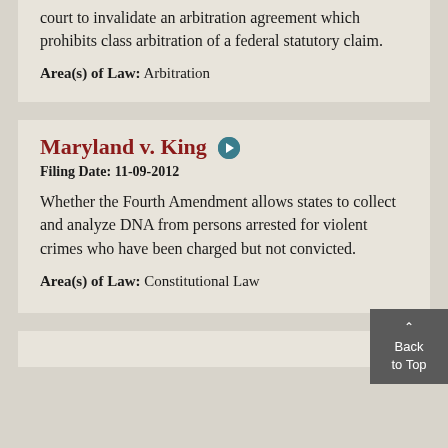court to invalidate an arbitration agreement which prohibits class arbitration of a federal statutory claim.
Area(s) of Law: Arbitration
Maryland v. King
Filing Date: 11-09-2012
Whether the Fourth Amendment allows states to collect and analyze DNA from persons arrested for violent crimes who have been charged but not convicted.
Area(s) of Law: Constitutional Law
Back to Top